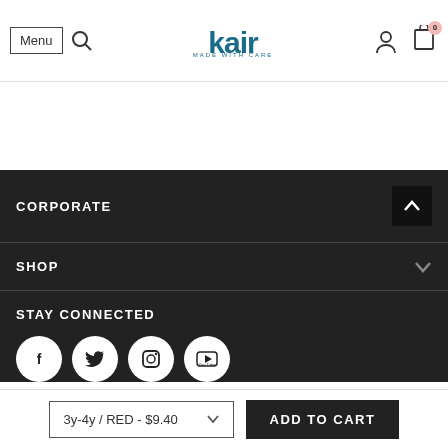Menu | [search] | kair MADE WITH CARE | [user icon] | [cart: 0]
CORPORATE
SHOP
STAY CONNECTED
[Figure (other): Social media icons: Facebook, Twitter, Instagram, YouTube]
3y-4y / RED - $9.40
ADD TO CART